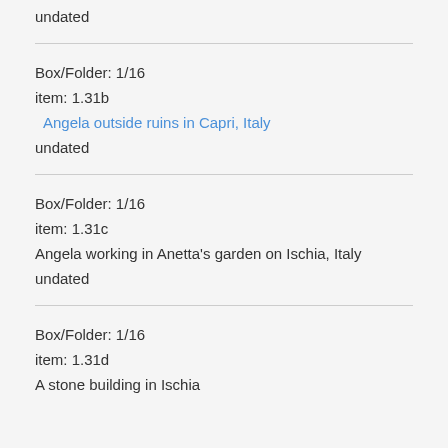undated
Box/Folder: 1/16
item: 1.31b
Angela outside ruins in Capri, Italy
undated
Box/Folder: 1/16
item: 1.31c
Angela working in Anetta's garden on Ischia, Italy
undated
Box/Folder: 1/16
item: 1.31d
A stone building in Ischia...